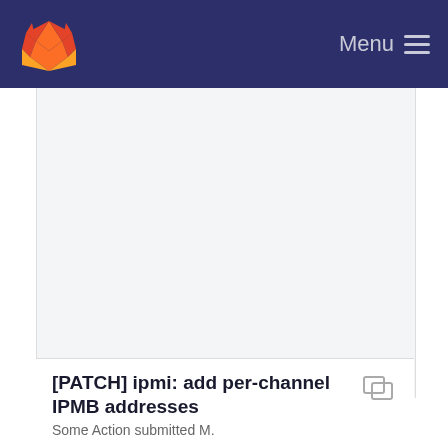GitLab — Menu
[Figure (other): Large empty content area with light gray background, representing a GitLab web page content region]
[PATCH] ipmi: add per-channel IPMB addresses